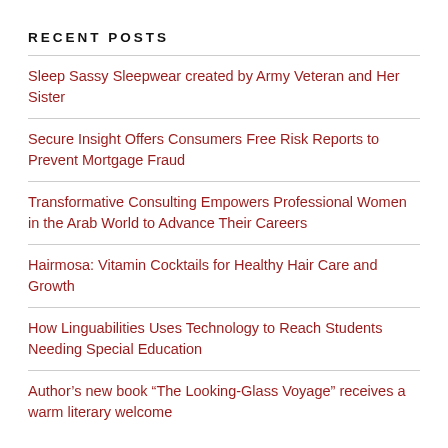RECENT POSTS
Sleep Sassy Sleepwear created by Army Veteran and Her Sister
Secure Insight Offers Consumers Free Risk Reports to Prevent Mortgage Fraud
Transformative Consulting Empowers Professional Women in the Arab World to Advance Their Careers
Hairmosa: Vitamin Cocktails for Healthy Hair Care and Growth
How Linguabilities Uses Technology to Reach Students Needing Special Education
Author’s new book “The Looking-Glass Voyage” receives a warm literary welcome